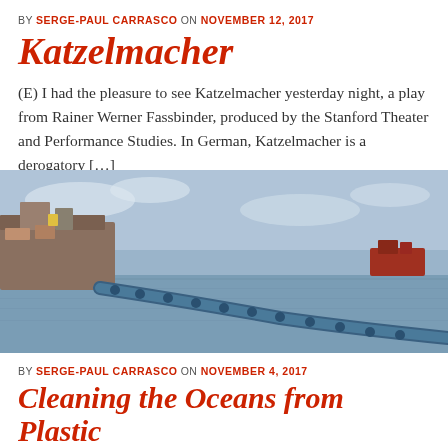BY SERGE-PAUL CARRASCO ON NOVEMBER 12, 2017
Katzelmacher
(E) I had the pleasure to see Katzelmacher yesterday night, a play from Rainer Werner Fassbinder, produced by the Stanford Theater and Performance Studies. In German, Katzelmacher is a derogatory […]
[Figure (photo): A large vessel on the ocean pulling a long floating blue barrier/tube structure, with a smaller red ship in the background under a cloudy sky.]
BY SERGE-PAUL CARRASCO ON NOVEMBER 4, 2017
Cleaning the Oceans from Plastic
(T) It is a blast to see a young social entrepreneur willing to start new ventures for the good of global society. So is the case of Boyan Slat, a 23-year […]